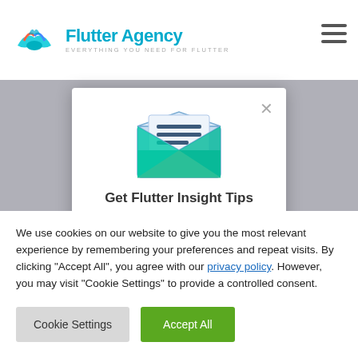Flutter Agency — EVERYTHING YOU NEED FOR FLUTTER
How to Stretch Columns to Full Screen Height In Flutter ?
Abhi... | August 30, 2021 · Last updated
[Figure (illustration): Email newsletter envelope illustration — open envelope with letter inside, teal/mint color scheme]
Get Flutter Insight Tips
Subscribe our weekly newsletter. We respect your privacy.
We use cookies on our website to give you the most relevant experience by remembering your preferences and repeat visits. By clicking "Accept All", you agree with our privacy policy. However, you may visit "Cookie Settings" to provide a controlled consent.
Cookie Settings | Accept All